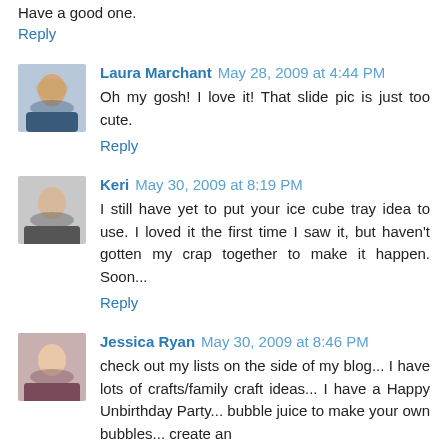Have a good one.
Reply
Laura Marchant May 28, 2009 at 4:44 PM
Oh my gosh! I love it! That slide pic is just too cute.
Reply
Keri May 30, 2009 at 8:19 PM
I still have yet to put your ice cube tray idea to use. I loved it the first time I saw it, but haven't gotten my crap together to make it happen. Soon...
Reply
Jessica Ryan May 30, 2009 at 8:46 PM
check out my lists on the side of my blog... I have lots of crafts/family craft ideas... I have a Happy Unbirthday Party... bubble juice to make your own bubbles... create an